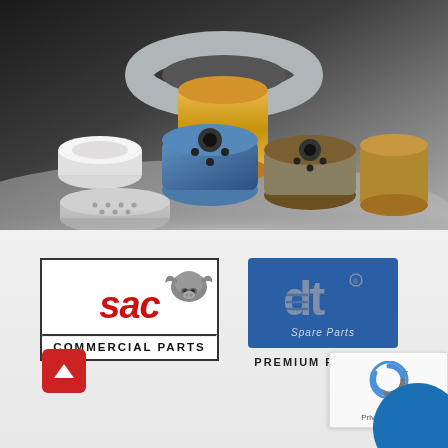[Figure (photo): Product photo showing various automotive/commercial vehicle filters including cylindrical oil filters, round air filters, and spin-on filters in yellow, blue, and gray colors against a dark gradient background.]
[Figure (logo): SAC Commercial Parts logo: red italic stylized letters 'SAC' with a bull/bison graphic, bordered box, text 'COMMERCIAL PARTS' below divider line.]
[Figure (logo): DT Spare Parts Premium Partner logo: blue square badge with stylized 'dt' letters and 'Spare Parts' text, with 'PREMIUM PARTNER' text below.]
[Figure (other): Red back-to-top button (red square with white upward arrow) on the lower left.]
[Figure (other): Google reCAPTCHA widget (white box with reCAPTCHA logo) with Privacy and Terms links at bottom right.]